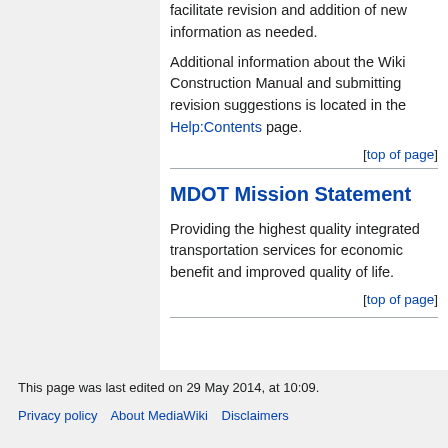facilitate revision and addition of new information as needed.
Additional information about the Wiki Construction Manual and submitting revision suggestions is located in the Help:Contents page.
[top of page]
MDOT Mission Statement
Providing the highest quality integrated transportation services for economic benefit and improved quality of life.
[top of page]
This page was last edited on 29 May 2014, at 10:09.
Privacy policy   About MediaWiki   Disclaimers